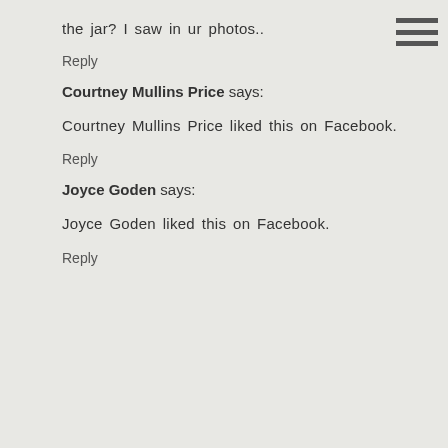the jar? I saw in ur photos..
Reply
Courtney Mullins Price says:
Courtney Mullins Price liked this on Facebook.
Reply
Joyce Goden says:
Joyce Goden liked this on Facebook.
Reply